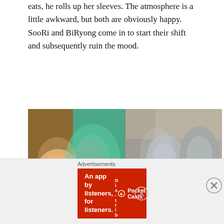eats, he rolls up her sleeves. The atmosphere is a little awkward, but both are obviously happy. SooRi and BiRyong come in to start their shift and subsequently ruin the mood.
[Figure (photo): Two side-by-side stills from a Korean drama. Left: a woman and a man in a teal sweater in a surprised/shocked pose. Right: two men, one in blue shirt and glasses, one in a striped shirt, both with surprised expressions.]
SongAh realises that she only has GookDae's shirt on and runs for cover into the back room. GookDae tells the pair that they should call before coming into work (haha) and then they start to joke around. In the midst of this BiRyong gets a text from DaHwa (are these two going to
Advertisements
[Figure (screenshot): Red advertisement banner for Pocket Casts app: 'An app by listeners, for listeners.' with a stylized phone showing 'Distributed' text and the Pocket Casts logo and name.]